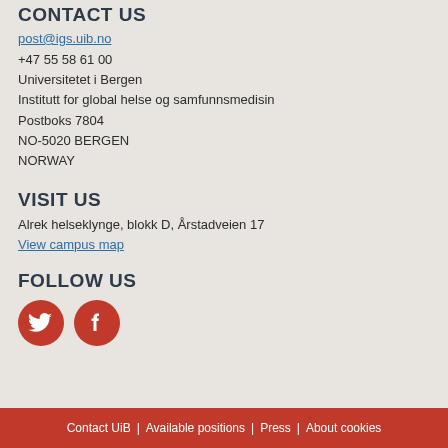CONTACT US
post@igs.uib.no
+47 55 58 61 00
Universitetet i Bergen
Institutt for global helse og samfunnsmedisin
Postboks 7804
NO-5020 BERGEN
NORWAY
VISIT US
Alrek helseklynge, blokk D, Årstadveien 17
View campus map
FOLLOW US
[Figure (illustration): Twitter and Facebook social media icons as red circular buttons with white bird and f logos respectively]
Contact UiB  |  Available positions  |  Press  |  About cookies